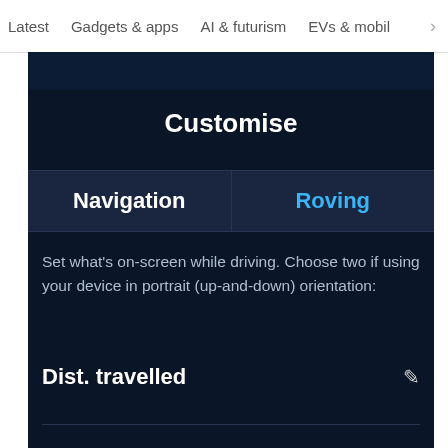Latest   Gadgets & apps   AI & futurism   EVs & mobil  >
Customise
| Navigation | Roving |
| --- | --- |
Set what's on-screen while driving. Choose two if using your device in portrait (up-and-down) orientation:
Dist. travelled
Travel direction